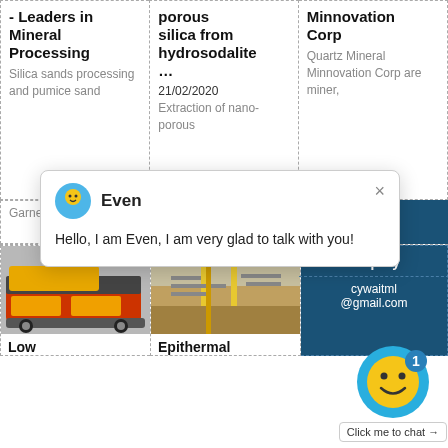- Leaders in Mineral Processing
Silica sands processing and pumice sand
porous silica from hydrosodalite ...
21/02/2020
Extraction of nano-porous
Minnovation Corp
Quartz Mineral Minnovation Corp are miner,
[Figure (screenshot): Chat popup with avatar of Even, message: Hello, I am Even, I am very glad to talk with you!]
Garnet,
of low-grade
[Figure (photo): Photo of yellow mining/crushing equipment on a truck]
[Figure (photo): Photo of industrial mineral processing facility]
Low
Epithermal
Enquiry
cywaitml@gmail.com
[Figure (screenshot): Chat widget with smiley face on blue background, badge showing 1, Click me to chat button]